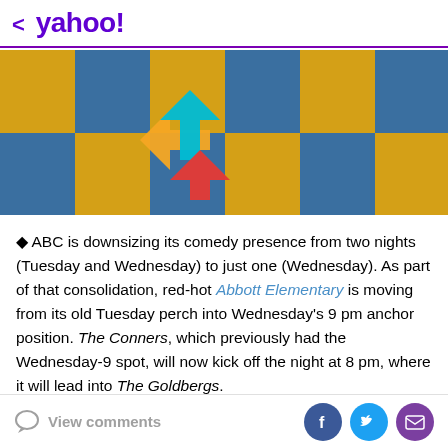< yahoo!
[Figure (photo): Blue and yellow checkered fabric background with a colorful multi-colored arrow/cursor icon overlay]
ABC is downsizing its comedy presence from two nights (Tuesday and Wednesday) to just one (Wednesday). As part of that consolidation, red-hot Abbott Elementary is moving from its old Tuesday perch into Wednesday's 9 pm anchor position. The Conners, which previously had the Wednesday-9 spot, will now kick off the night at 8 pm, where it will lead into The Goldbergs.
Summertime staple Bachelor in Paradise is getting a
View comments